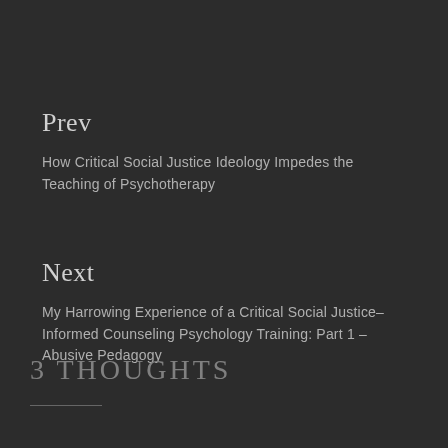Prev
How Critical Social Justice Ideology Impedes the Teaching of Psychotherapy
Next
My Harrowing Experience of a Critical Social Justice-Informed Counseling Psychology Training: Part 1 – Abusive Pedagogy
3 THOUGHTS